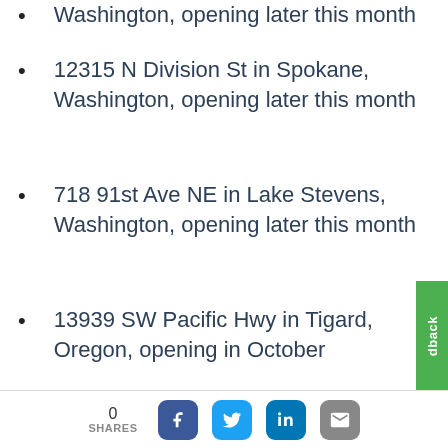Washington, opening later this month
12315 N Division St in Spokane, Washington, opening later this month
718 91st Ave NE in Lake Stevens, Washington, opening later this month
13939 SW Pacific Hwy in Tigard, Oregon, opening in October
1840 Portland Rd in Newberg, Oregon, opening in November
Kadlec Express Care at Walgreens
0 SHARES